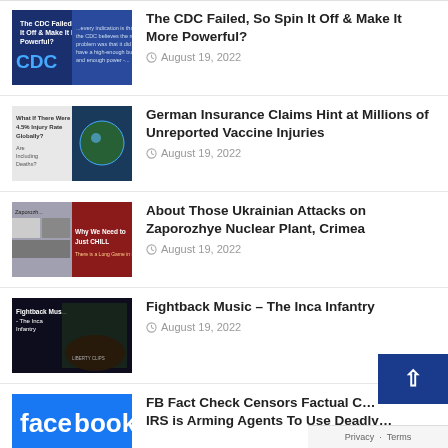[Figure (screenshot): Thumbnail for CDC article - blue background with CDC logo and text]
The CDC Failed, So Spin It Off & Make It More Powerful?
August 19, 2022
[Figure (screenshot): Thumbnail for vaccine injuries article - text about 4.5% injury rate and globe image]
German Insurance Claims Hint at Millions of Unreported Vaccine Injuries
August 19, 2022
[Figure (screenshot): Thumbnail for Ukrainian attacks article - nuclear plant and 'Why We Need to Just CHILL' text on red background]
About Those Ukrainian Attacks on Zaporozhye Nuclear Plant, Crimea
August 19, 2022
[Figure (screenshot): Thumbnail for Fightback Music article - military themed dark background with Inca Infantry text]
Fightback Music – The Inca Infantry
August 19, 2022
[Figure (screenshot): Thumbnail for Facebook Fact Check article - Facebook blue logo]
FB Fact Check Censors Factual C… IRS is Arming Agents To Use Deadly…